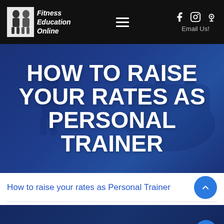Fitness Education Online
[Figure (illustration): Hero banner with dark blue background and gym silhouette, large white bold text reading HOW TO RAISE YOUR RATES AS PERSONAL TRAINER]
HOW TO RAISE YOUR RATES AS PERSONAL TRAINER
How to raise your rates as Personal Trainer
[Figure (photo): Partial view of a second banner image with dark blue gym background and a circular blue scroll button]